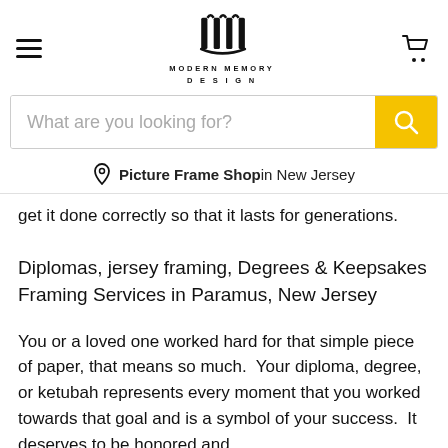Modern Memory Design — navigation bar with hamburger menu and cart icon
What are you looking for?
Picture Frame Shop in New Jersey
get it done correctly so that it lasts for generations.
Diplomas, jersey framing, Degrees & Keepsakes Framing Services in Paramus, New Jersey
You or a loved one worked hard for that simple piece of paper, that means so much.  Your diploma, degree, or ketubah represents every moment that you worked towards that goal and is a symbol of your success.  It deserves to be honored and